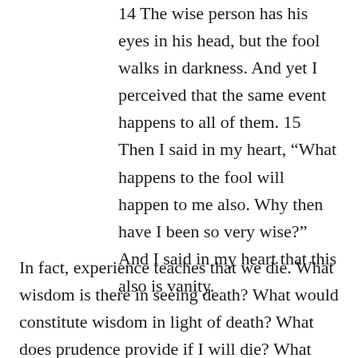14 The wise person has his eyes in his head, but the fool walks in darkness. And yet I perceived that the same event happens to all of them. 15 Then I said in my heart, “What happens to the fool will happen to me also. Why then have I been so very wise?” And I said in my heart that this also is vanity.
In fact, experience teaches that we die. What wisdom is there in seeing death? What would constitute wisdom in light of death? What does prudence provide if I will die? What does excess teach if it runs into death. What palace of wisdom stands